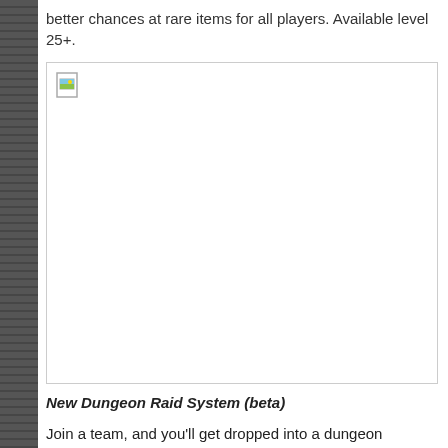better chances at rare items for all players. Available level 25+.
[Figure (photo): Broken/missing image placeholder with small image icon in top-left corner, large white area.]
New Dungeon Raid System (beta)
Join a team, and you'll get dropped into a dungeon featuring an army of monsters. Work together with your team and try to take them all down, as fast as possible, and redeem the points you earn for chests of varying tiers for a chance at rare items, some you can't get anywhere else.